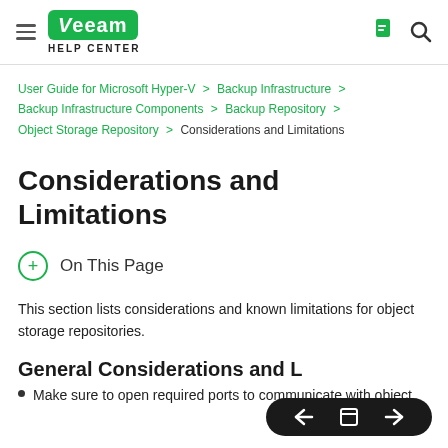Veeam Help Center
User Guide for Microsoft Hyper-V > Backup Infrastructure > Backup Infrastructure Components > Backup Repository > Object Storage Repository > Considerations and Limitations
Considerations and Limitations
On This Page
This section lists considerations and known limitations for object storage repositories.
General Considerations and L...
Make sure to open required ports to communicate with object